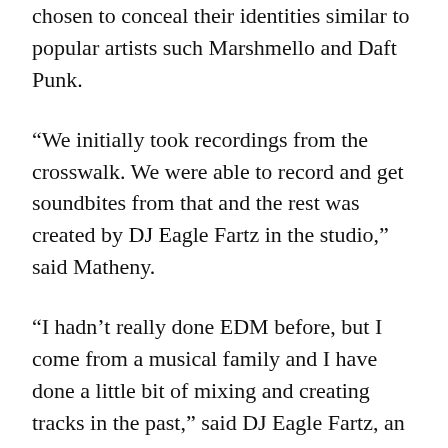chosen to conceal their identities similar to popular artists such Marshmello and Daft Punk.
“We initially took recordings from the crosswalk. We were able to record and get soundbites from that and the rest was created by DJ Eagle Fartz in the studio,” said Matheny.
“I hadn’t really done EDM before, but I come from a musical family and I have done a little bit of mixing and creating tracks in the past,” said DJ Eagle Fartz, an art major.
DJ Da Pickelz, a senior business major, said he hoped the track, which includes a portion of the university song, would help create a “sense of Winthrop pride” among the campus community.